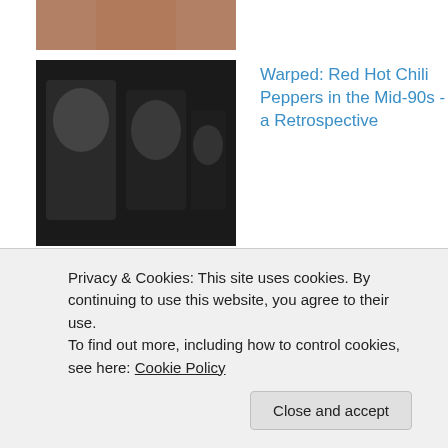[Figure (photo): Partial top image cropped, showing brown/skin tones]
Warped: Red Hot Chili Peppers in the Mid-90s - a Retrospective
Robocop (1987) - Review
Top Fifteen Grunge Songs - Milo
Privacy & Cookies: This site uses cookies. By continuing to use this website, you agree to their use.
To find out more, including how to control cookies, see here: Cookie Policy
Close and accept